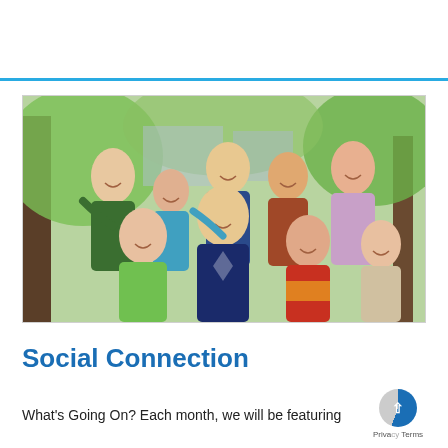[Figure (photo): Group photo of approximately 10 adults and children, some with Down syndrome, smiling and posing together outdoors in a park-like setting with green foliage in the background.]
Social Connection
What's Going On? Each month, we will be featuring